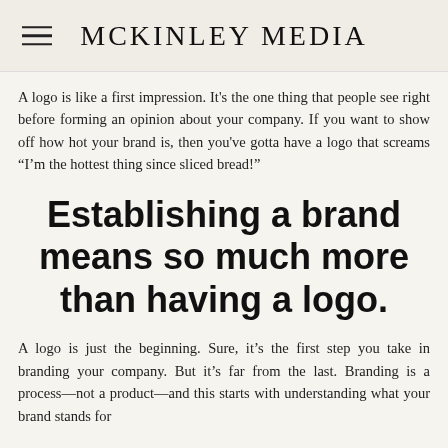MCKINLEY MEDIA
A logo is like a first impression. It's the one thing that people see right before forming an opinion about your company. If you want to show off how hot your brand is, then you've gotta have a logo that screams “I’m the hottest thing since sliced bread!”
Establishing a brand means so much more than having a logo.
A logo is just the beginning. Sure, it’s the first step you take in branding your company. But it’s far from the last. Branding is a process—not a product—and this starts with understanding what your brand stands for